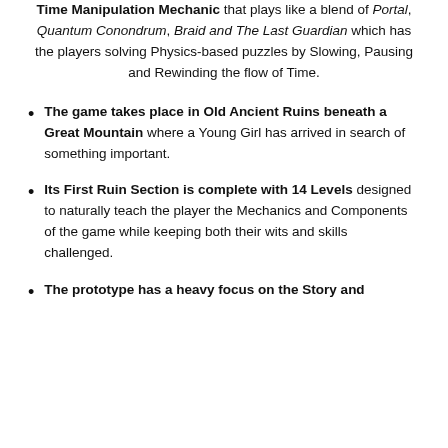Person Puzzle Platformer with a Time Manipulation Mechanic that plays like a blend of Portal, Quantum Conondrum, Braid and The Last Guardian which has the players solving Physics-based puzzles by Slowing, Pausing and Rewinding the flow of Time.
The game takes place in Old Ancient Ruins beneath a Great Mountain where a Young Girl has arrived in search of something important.
Its First Ruin Section is complete with 14 Levels designed to naturally teach the player the Mechanics and Components of the game while keeping both their wits and skills challenged.
The prototype has a heavy focus on the Story and